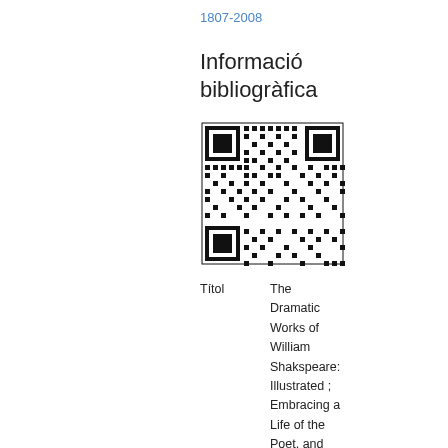1807-2008
Informació bibliogràfica
[Figure (other): QR code linking to bibliographic information]
| Títol | The Dramatic Works of William Shakspeare: Illustrated ; Embracing a Life of the Poet, and |